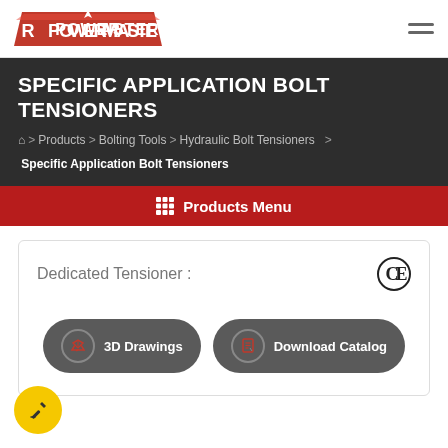POWERMASTER
SPECIFIC APPLICATION BOLT TENSIONERS
Home > Products > Bolting Tools > Hydraulic Bolt Tensioners > Specific Application Bolt Tensioners
Products Menu
Dedicated Tensioner :
CE
3D Drawings
Download Catalog